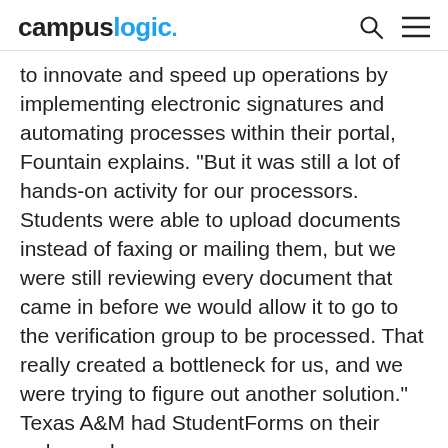campuslogic.
to innovate and speed up operations by implementing electronic signatures and automating processes within their portal, Fountain explains. “But it was still a lot of hands-on activity for our processors. Students were able to upload documents instead of faxing or mailing them, but we were still reviewing every document that came in before we would allow it to go to the verification group to be processed. That really created a bottleneck for us, and we were trying to figure out another solution.” Texas A&M had StudentForms on their radar, and